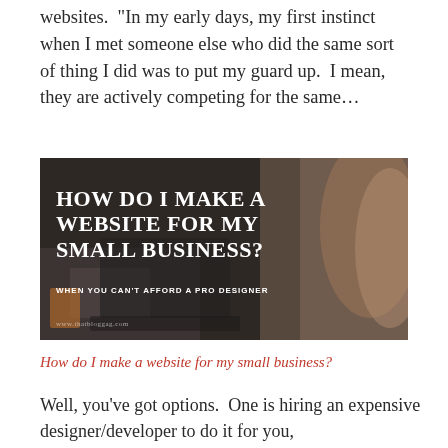websites.  "In my early days, my first instinct when I met someone else who did the same sort of thing I did was to put my guard up.  I mean, they are actively competing for the same...
[Figure (photo): A dark-toned banner image showing a person working on a laptop at a desk with papers. Overlaid white bold serif text reads: HOW DO I MAKE A WEBSITE FOR MY SMALL BUSINESS? with subtitle: WHEN YOU CAN'T AFFORD A PRO DESIGNER]
How do I make a website for my small business?
Well, you've got options.  One is hiring an expensive designer/developer to do it for you,